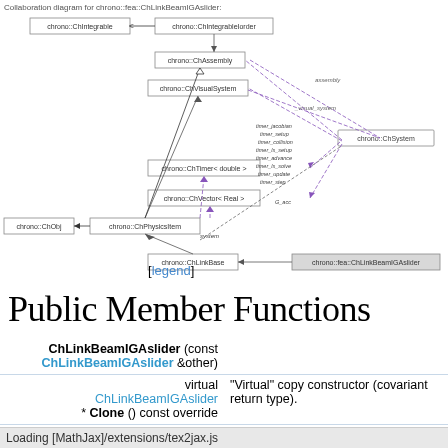[Figure (engineering-diagram): Collaboration diagram for chrono::fea::ChLinkBeamIGAslider showing class relationships including chrono::ChIntegrable, chrono::ChIntegrableIorder, chrono::ChAssembly, chrono::ChVisualSystem, timers, chrono::ChTimer, chrono::ChVector, chrono::ChPhysicsItem, chrono::ChObj, chrono::ChLinkBase, and chrono::fea::ChLinkBeamIGAslider with labeled association arrows.]
[legend]
Public Member Functions
| ChLinkBeamIGAslider (const ChLinkBeamIGAslider &other) |  |
| virtual ChLinkBeamIGAslider * Clone () const override | "Virtual" copy constructor (covariant return type). |
| virtual int GetNumCoords () override | Get the number of scalar variables affected by constraints in this link. |